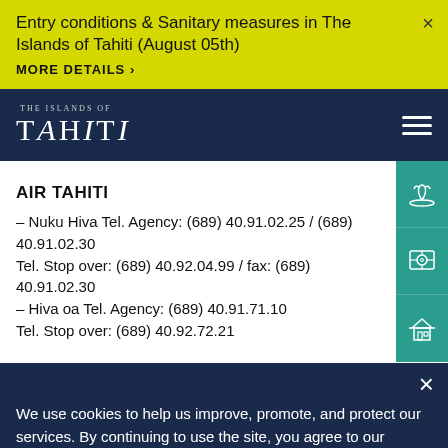Entry conditions & Sanitary measures in The Islands of Tahiti (August 05th)
MORE DETAILS >
[Figure (logo): The Islands of Tahiti logo in white on navy background]
AIR TAHITI
– Nuku Hiva Tel. Agency: (689) 40.91.02.25 / (689) 40.91.02.30
Tel. Stop over: (689) 40.92.04.99 / fax: (689) 40.91.02.30
– Hiva oa Tel. Agency: (689) 40.91.71.10
Tel. Stop over: (689) 40.92.72.21
We use cookies to help us improve, promote, and protect our services. By continuing to use the site, you agree to our cookie policy.